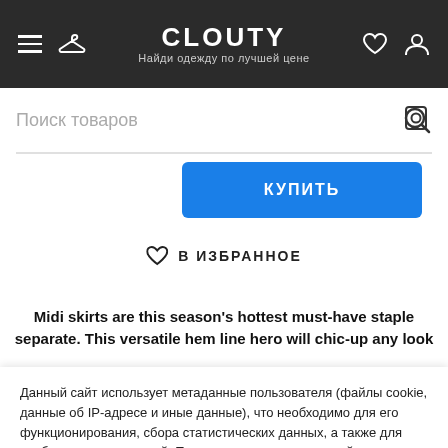CLOUTY — Найди одежду по лучшей цене
Поиск товаров
КУПИТЬ
В ИЗБРАННОЕ
Midi skirts are this season's hottest must-have staple separate. This versatile hem line hero will chic-up any look
Данный сайт использует метаданные пользователя (файлы cookie, данные об IP-адресе и иные данные), что необходимо для его функционирования, сбора статистических данных, а также для удобства пользователей. Продолжая пользоваться сайтом, вы даете согласие на использование ваших метаданных.
ПОДРОБНЕЕ
ХОРОШО